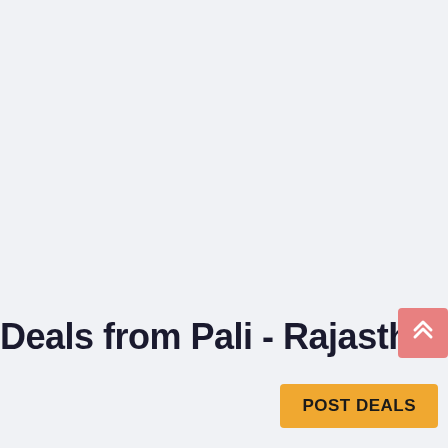Deals from Pali - Rajastha
[Figure (other): Scroll-to-top button with double chevron up arrow icon, salmon/pink background]
POST DEALS